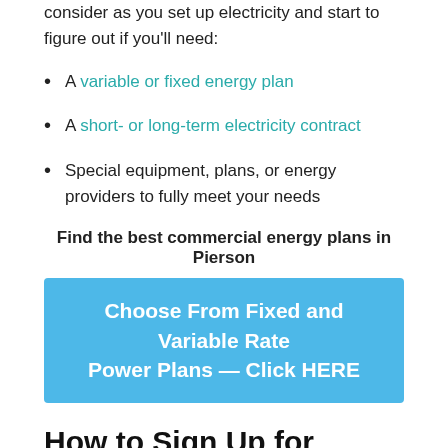consider as you set up electricity and start to figure out if you'll need:
A variable or fixed energy plan
A short- or long-term electricity contract
Special equipment, plans, or energy providers to fully meet your needs
Find the best commercial energy plans in Pierson
Choose From Fixed and Variable Rate Power Plans  — Click HERE
How to Sign Up for Electricity Service in Pierson, FL